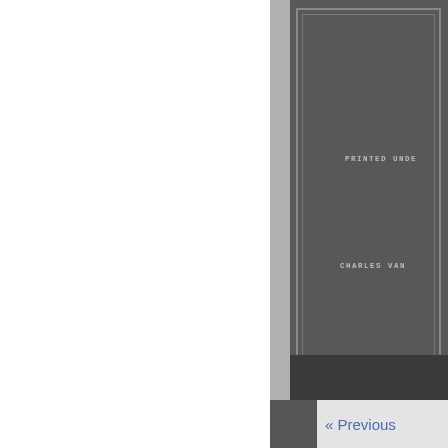[Figure (photo): Partial view of a scanned old book cover or title page shown on the right side of the image. The dark gray/charcoal background shows text partially visible: 'PRINTED UNDE' and 'CHARLES VAN' in monospaced uppercase letters. The book has decorative border lines. The left portion of the image is white (blank browser/viewer background).]
« Previous